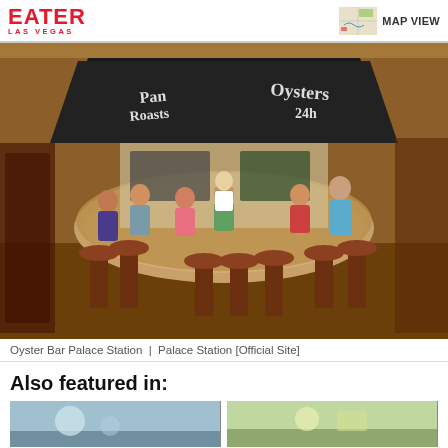EATER LAS VEGAS
[Figure (photo): Interior photo of Oyster Bar at Palace Station, showing a circular bar with patrons seated on brown leather bar stools, with a large dark decorative hood overhead displaying text 'Pan Roasts', 'Oysters', '24h', staff behind the bar, warm lighting and casino-style carpet.]
Oyster Bar Palace Station  |  Palace Station [Official Site]
Also featured in:
[Figure (photo): Small thumbnail image 1 - food/scene photo]
[Figure (photo): Small thumbnail image 2 - food/scene photo]